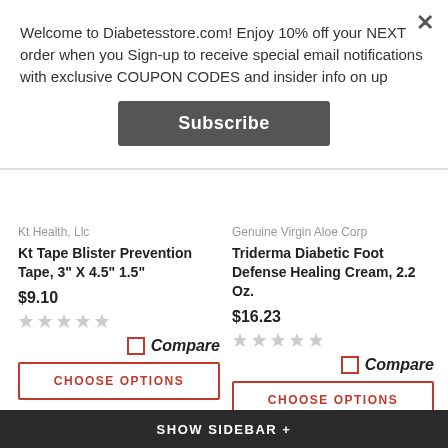Welcome to Diabetesstore.com! Enjoy 10% off your NEXT order when you Sign-up to receive special email notifications with exclusive COUPON CODES and insider info on up
Subscribe
Kt Health, Llc
Kt Tape Blister Prevention Tape, 3" X 4.5" 1.5"
$9.10
Compare
CHOOSE OPTIONS
Genuine Virgin Aloe Corp
Triderma Diabetic Foot Defense Healing Cream, 2.2 Oz.
$16.23
Compare
CHOOSE OPTIONS
SHOW SIDEBAR +